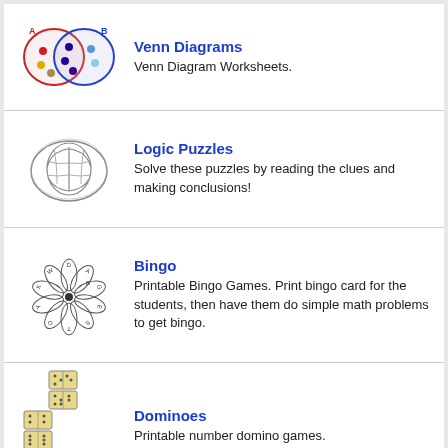[Figure (illustration): Venn diagram with two overlapping circles labeled A and B, containing colored dots (red, yellow, brown in left, blue/dark in center, light blue in right)]
Venn Diagrams
Venn Diagram Worksheets.
[Figure (illustration): Grayscale illustration of a human brain]
Logic Puzzles
Solve these puzzles by reading the clues and making conclusions!
[Figure (illustration): Flower-like circular diagram with petals containing letters W, D, A, G, E, S, T, O, Y, X, B]
Bingo
Printable Bingo Games. Print bingo card for the students, then have them do simple math problems to get bingo.
[Figure (illustration): Illustration of domino tiles arranged in an L-shape with dots]
Dominoes
Printable number domino games.